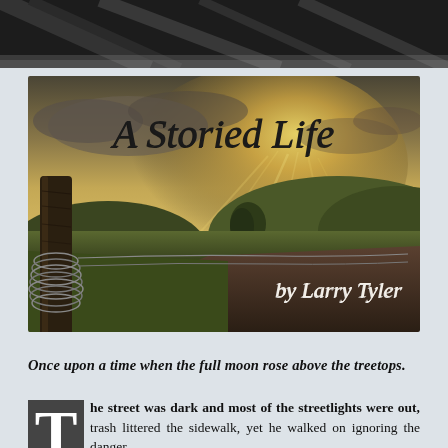[Figure (photo): Top portion of a dark architectural photo, appears to be a bridge or building structure in dark tones]
[Figure (illustration): Book cover image showing a rural countryside landscape with a fence post wrapped in wire, a lone tree, fields, hills, and dramatic sunlight rays through clouds. Title reads 'A Storied Life' in script font and 'by Larry Tyler' in serif italics.]
Once upon a time when the full moon rose above the treetops.
The street was dark and most of the streetlights were out, trash littered the sidewalk, yet he walked on ignoring the danger